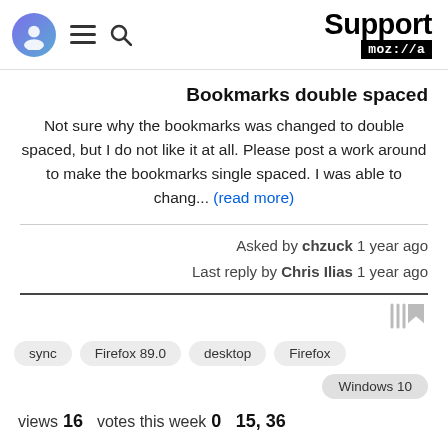Support moz://a
Bookmarks double spaced
Not sure why the bookmarks was changed to double spaced, but I do not like it at all. Please post a work around to make the bookmarks single spaced. I was able to chang... (read more)
Asked by chzuck 1 year ago
Last reply by Chris Ilias 1 year ago
sync
Firefox 89.0
desktop
Firefox
Windows 10
views 16  votes this week 0  15, 36